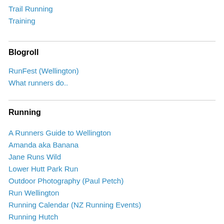Trail Running
Training
Blogroll
RunFest (Wellington)
What runners do..
Running
A Runners Guide to Wellington
Amanda aka Banana
Jane Runs Wild
Lower Hutt Park Run
Outdoor Photography (Paul Petch)
Run Wellington
Running Calendar (NZ Running Events)
Running Hutch